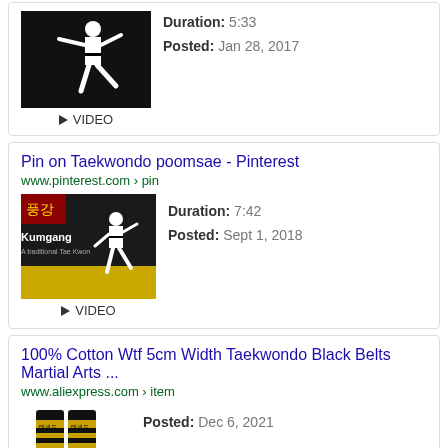[Figure (screenshot): Search result card (partial top) with a taekwondo video thumbnail, duration 5:33, posted Jan 28, 2017, VIDEO label]
Duration: 5:33
Posted: Jan 28, 2017
▶ VIDEO
Pin on Taekwondo poomsae - Pinterest
www.pinterest.com › pin
[Figure (screenshot): Kumgang taekwondo video thumbnail on black/yellow background]
Duration: 7:42
Posted: Sept 1, 2018
▶ VIDEO
100% Cotton Wtf 5cm Width Taekwondo Black Belts Martial Arts ...
www.aliexpress.com › item
[Figure (photo): Two taekwondo black belts with gold Korean lettering on white background]
Posted: Dec 6, 2021
▶ VIDEO
Which is better ITF vs WTF Taekwondo? - Battle Born Krav Maga
battlebornkravmagaly.com › martial-arts › quick-answer-wtf-taekwondo-vs